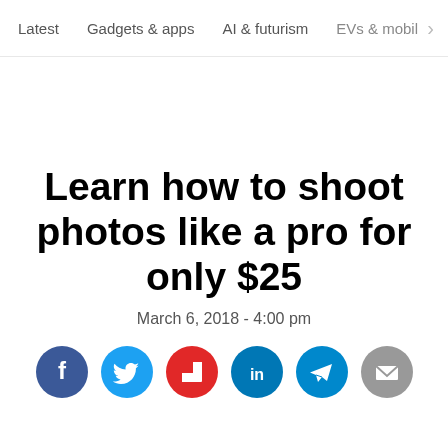Latest   Gadgets & apps   AI & futurism   EVs & mobil  >
Learn how to shoot photos like a pro for only $25
March 6, 2018 - 4:00 pm
[Figure (infographic): Row of social share buttons: Facebook (blue), Twitter (blue), Flipboard (red), LinkedIn (teal), Telegram (teal), Email (gray)]